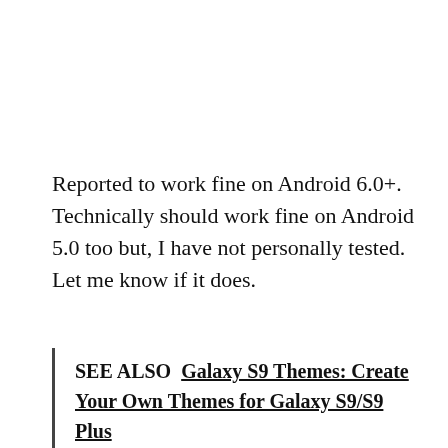Reported to work fine on Android 6.0+. Technically should work fine on Android 5.0 too but, I have not personally tested. Let me know if it does.
SEE ALSO  Galaxy S9 Themes: Create Your Own Themes for Galaxy S9/S9 Plus